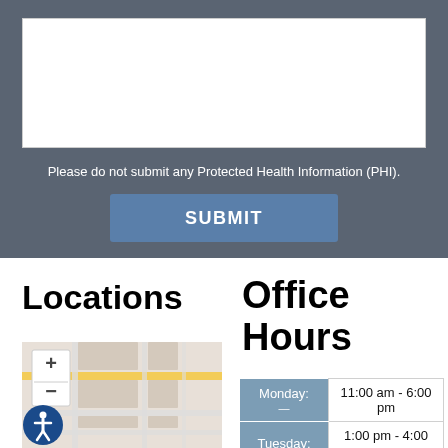[Figure (screenshot): White text input box area within gray form section]
Please do not submit any Protected Health Information (PHI).
SUBMIT
Locations
Office Hours
[Figure (map): Street map showing city blocks with zoom controls and accessibility icon]
| Day | Hours |
| --- | --- |
| Monday: | 11:00 am - 6:00 pm |
| Tuesday: | 1:00 pm - 4:00 pm |